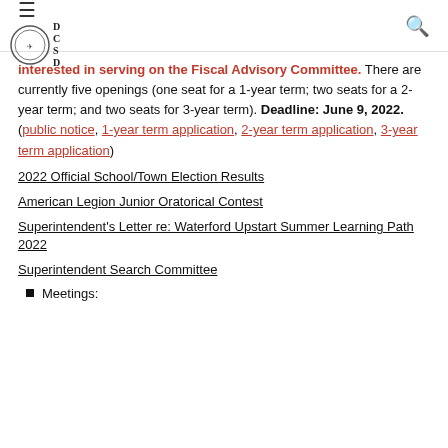DCSD navigation header with hamburger menu, logo, and search icon
interested in serving on the Fiscal Advisory Committee. There are currently five openings (one seat for a 1-year term; two seats for a 2-year term; and two seats for 3-year term). Deadline: June 9, 2022. (public notice, 1-year term application, 2-year term application, 3-year term application)
2022 Official School/Town Election Results
American Legion Junior Oratorical Contest
Superintendent's Letter re: Waterford Upstart Summer Learning Path 2022
Superintendent Search Committee
Meetings: